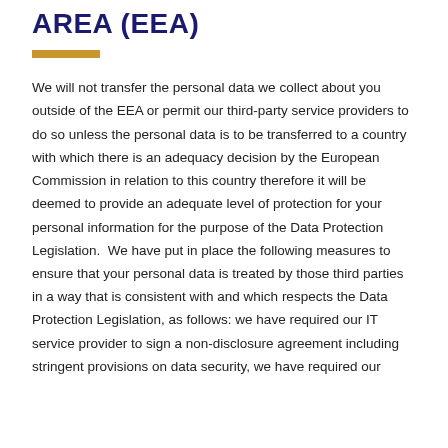AREA (EEA)
We will not transfer the personal data we collect about you outside of the EEA or permit our third-party service providers to do so unless the personal data is to be transferred to a country with which there is an adequacy decision by the European Commission in relation to this country therefore it will be deemed to provide an adequate level of protection for your personal information for the purpose of the Data Protection Legislation.  We have put in place the following measures to ensure that your personal data is treated by those third parties in a way that is consistent with and which respects the Data Protection Legislation, as follows: we have required our IT service provider to sign a non-disclosure agreement including stringent provisions on data security, we have required our